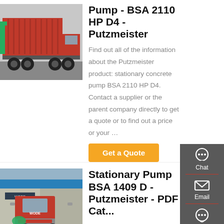[Figure (photo): Red dump truck / tipper truck, side and rear view, outdoor setting]
Pump - BSA 2110 HP D4 - Putzmeister
Find out all of the information about the Putzmeister product: stationary concrete pump BSA 2110 HP D4. Contact a supplier or the parent company directly to get a quote or to find out a price or your …
[Figure (screenshot): Get a Quote orange button]
[Figure (screenshot): Sidebar with Chat, Email, Contact, Top navigation icons on dark grey background]
[Figure (photo): Red truck tractor / semi truck, front-left view, in industrial area]
Stationary Pump BSA 1409 D - Putzmeister - PDF Catalog...